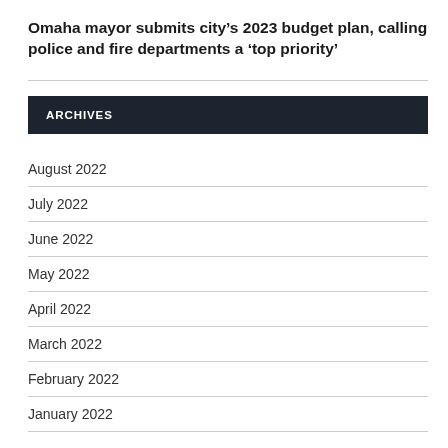Omaha mayor submits city’s 2023 budget plan, calling police and fire departments a ‘top priority’
ARCHIVES
August 2022
July 2022
June 2022
May 2022
April 2022
March 2022
February 2022
January 2022